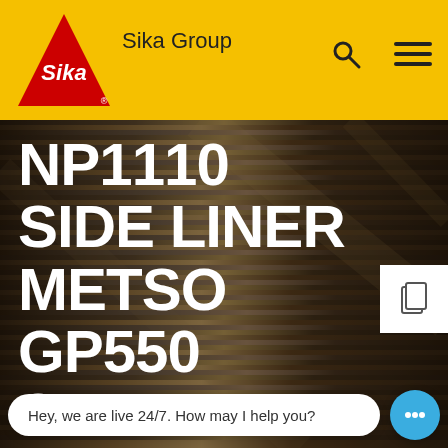Sika Group
[Figure (photo): Close-up photograph of woven dark metallic/fiber material, likely industrial lining material, with layered ribbons and textured surface in dark brown and silver tones.]
NP1110 SIDE LINER METSO GP550 SPARE PART 1769-0W8 DATASHEET METSO GP550
Hey, we are live 24/7. How may I help you?